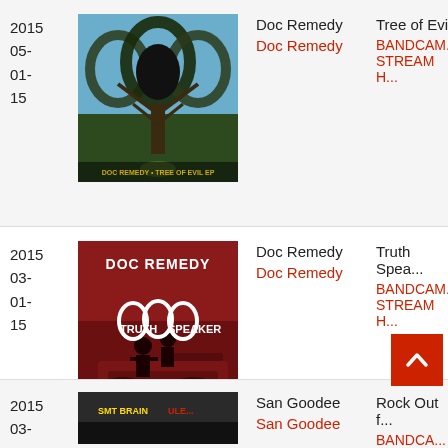2015 05- 01- 15
[Figure (photo): Doc Remedy - Tree of Evil EP album cover with stylized circular logo over tree/sky image]
Doc Remedy
Doc Remedy
Tree of Evil
BANDCAM... STREAM H...
2015 03- 01- 15
[Figure (photo): Doc Remedy - Truth Speaker mixtape cover with red silhouette figures on tank]
Doc Remedy
Doc Remedy
Truth Spea...
BANDCAM... STREAM H...
2015 03-
[Figure (photo): Partially visible album cover at bottom]
San Goodee
San Goodee
Rock Out f...
BANDCA...